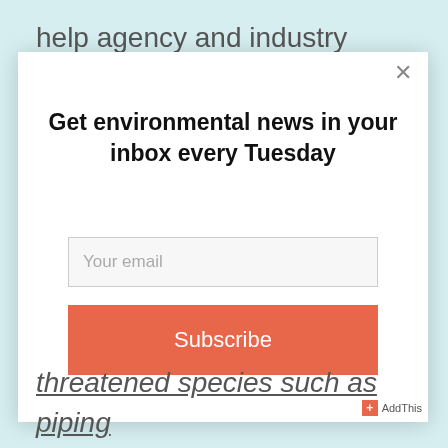help agency and industry partners balance renewable-energy development with conservation and
[Figure (screenshot): Modal popup dialog with email subscription form on a light blue background. Contains a close (×) button, heading 'Get environmental news in your inbox every Tuesday', an email input field with placeholder 'Your email', and an orange 'Subscribe' button.]
threatened species such as piping